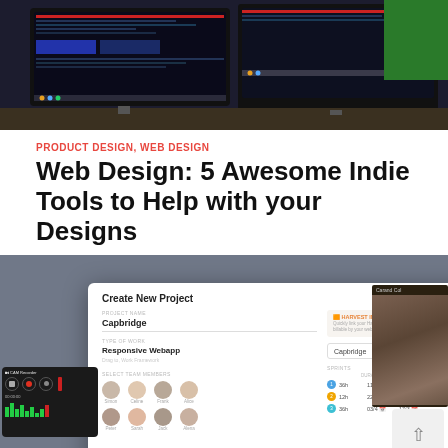[Figure (photo): Top banner photo: multiple computer monitors on a desk showing dark-themed screens]
PRODUCT DESIGN, WEB DESIGN
Web Design: 5 Awesome Indie Tools to Help with your Designs
[Figure (screenshot): Screenshot of a web application showing a 'Create New Project' dialog with team member avatars, sprint scheduling rows, Cancel and Create buttons, a Harvest integration panel, and a webcam feed overlay in the corner. A screen recorder widget is visible on the left.]